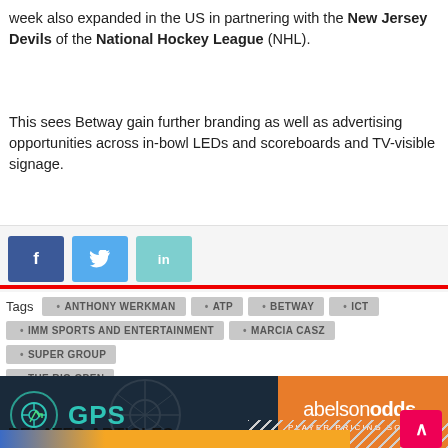week also expanded in the US in partnering with the New Jersey Devils of the National Hockey League (NHL).
This sees Betway gain further branding as well as advertising opportunities across in-bowl LEDs and scoreboards and TV-visible signage.
[Figure (screenshot): Social share buttons: Facebook (blue), Twitter (light blue), LinkedIn (teal)]
Tags: ANTHONY WERKMAN • ATP • BETWAY • ICT • IMM SPORTS AND ENTERTAINMENT • MARCIA CASZ • SUPER GROUP • THE RIO OPEN
[Figure (infographic): GPS abelsonodds advertisement banner — dark navy left side with GPS text in teal and soccer ball icon, orange right side with abelsonodds logo and PLAYER PRICING SOLVED tagline]
RELATED ARTICLES